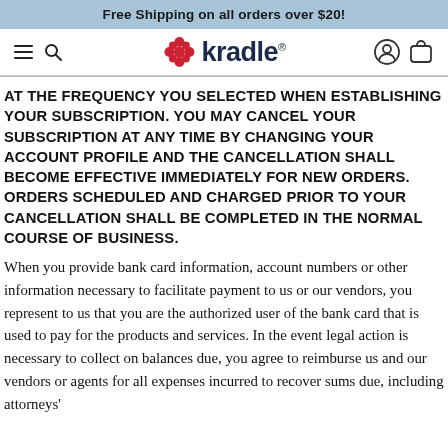Free Shipping on all orders over $20!
[Figure (logo): Kradle brand logo with red dot flower icon and dark navy 'kradle' text with registered trademark symbol, plus hamburger menu, search, account, and cart icons in navigation bar]
AT THE FREQUENCY YOU SELECTED WHEN ESTABLISHING YOUR SUBSCRIPTION. YOU MAY CANCEL YOUR SUBSCRIPTION AT ANY TIME BY CHANGING YOUR ACCOUNT PROFILE AND THE CANCELLATION SHALL BECOME EFFECTIVE IMMEDIATELY FOR NEW ORDERS. ORDERS SCHEDULED AND CHARGED PRIOR TO YOUR CANCELLATION SHALL BE COMPLETED IN THE NORMAL COURSE OF BUSINESS.
When you provide bank card information, account numbers or other information necessary to facilitate payment to us or our vendors, you represent to us that you are the authorized user of the bank card that is used to pay for the products and services. In the event legal action is necessary to collect on balances due, you agree to reimburse us and our vendors or agents for all expenses incurred to recover sums due, including attorneys'